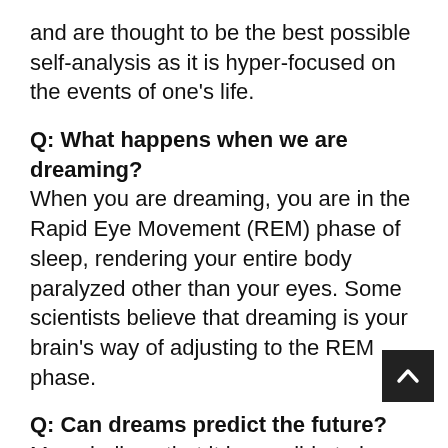and are thought to be the best possible self-analysis as it is hyper-focused on the events of one's life.
Q: What happens when we are dreaming?
When you are dreaming, you are in the Rapid Eye Movement (REM) phase of sleep, rendering your entire body paralyzed other than your eyes. Some scientists believe that dreaming is your brain's way of adjusting to the REM phase.
Q: Can dreams predict the future?
Many believe that it is possible to have a prophetic dream because when you enter dream state, your mind becomes more